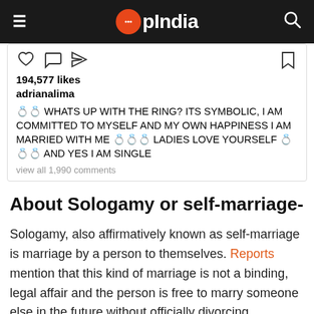OpIndia
[Figure (screenshot): Instagram post showing 194,577 likes by adrianalima with caption about sologamy and being committed to herself]
About Sologamy or self-marriage-
Sologamy, also affirmatively known as self-marriage is marriage by a person to themselves. Reports mention that this kind of marriage is not a binding, legal affair and the person is free to marry someone else in the future without officially divorcing themselves. In the present self-marriage case in Vadodara, Gujarat